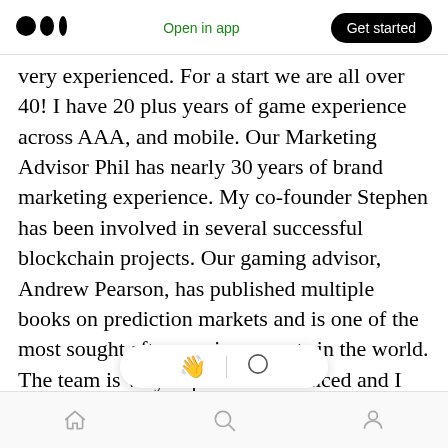Medium logo | Open in app | Get started
very experienced. For a start we are all over 40! I have 20 plus years of game experience across AAA, and mobile. Our Marketing Advisor Phil has nearly 30 years of brand marketing experience. My co-founder Stephen has been involved in several successful blockchain projects. Our gaming advisor, Andrew Pearson, has published multiple books on prediction markets and is one of the most sought after gaming experts in the world.
The team is very experienced and I am highly confident is the rig ake this happen.